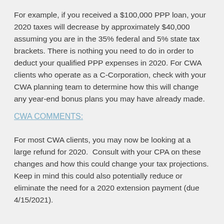For example, if you received a $100,000 PPP loan, your 2020 taxes will decrease by approximately $40,000 assuming you are in the 35% federal and 5% state tax brackets. There is nothing you need to do in order to deduct your qualified PPP expenses in 2020. For CWA clients who operate as a C-Corporation, check with your CWA planning team to determine how this will change any year-end bonus plans you may have already made.
CWA COMMENTS:
For most CWA clients, you may now be looking at a large refund for 2020.  Consult with your CPA on these changes and how this could change your tax projections. Keep in mind this could also potentially reduce or eliminate the need for a 2020 extension payment (due 4/15/2021).